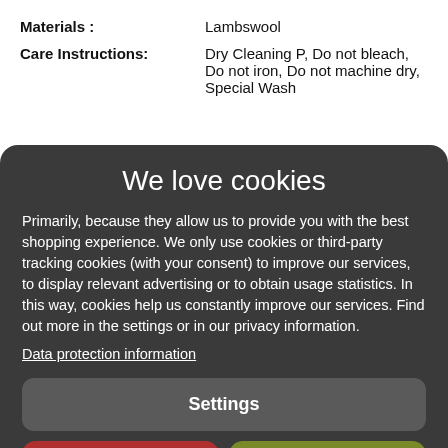Materials : Lambswool
Care Instructions: Dry Cleaning P, Do not bleach, Do not iron, Do not machine dry, Special Wash
We love cookies
Primarily, because they allow us to provide you with the best shopping experience. We only use cookies or third-party tracking cookies (with your consent) to improve our services, to display relevant advertising or to obtain usage statistics. In this way, cookies help us constantly improve our services. Find out more in the settings or in our privacy information.
Data protection information
Settings
Reject all
Accept all